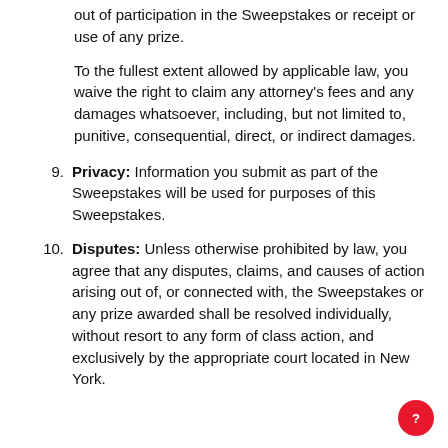out of participation in the Sweepstakes or receipt or use of any prize.
To the fullest extent allowed by applicable law, you waive the right to claim any attorney's fees and any damages whatsoever, including, but not limited to, punitive, consequential, direct, or indirect damages.
Privacy: Information you submit as part of the Sweepstakes will be used for purposes of this Sweepstakes.
Disputes: Unless otherwise prohibited by law, you agree that any disputes, claims, and causes of action arising out of, or connected with, the Sweepstakes or any prize awarded shall be resolved individually, without resort to any form of class action, and exclusively by the appropriate court located in New York.